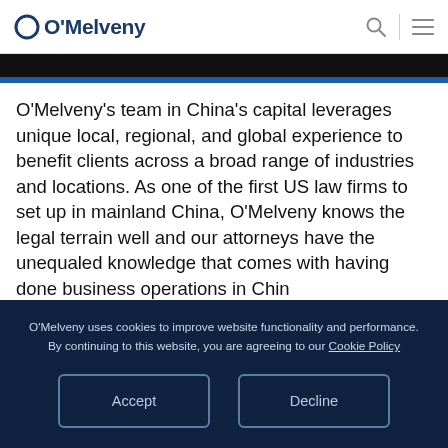O'Melveny
[Figure (photo): Black banner image strip at top of content area]
O'Melveny's team in China's capital leverages unique local, regional, and global experience to benefit clients across a broad range of industries and locations. As one of the first US law firms to set up in mainland China, O'Melveny knows the legal terrain well and our attorneys have the unequaled knowledge that comes with having done business operations in China
O'Melveny uses cookies to improve website functionality and performance. By continuing to this website, you are agreeing to our Cookie Policy
Accept    Decline